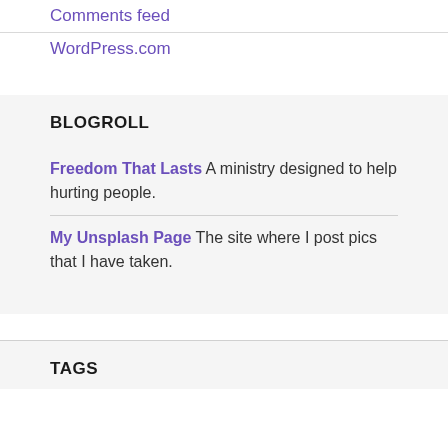Comments feed
WordPress.com
BLOGROLL
Freedom That Lasts A ministry designed to help hurting people.
My Unsplash Page The site where I post pics that I have taken.
TAGS